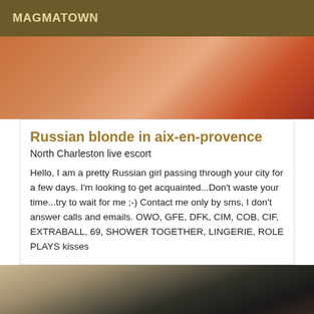MAGMATOWN
[Figure (photo): Close-up photo of a person's skin/body against a red background]
Russian blonde in aix-en-provence
North Charleston live escort
Hello, I am a pretty Russian girl passing through your city for a few days. I'm looking to get acquainted...Don't waste your time...try to wait for me ;-) Contact me only by sms, I don't answer calls and emails. OWO, GFE, DFK, CIM, COB, CIF, EXTRABALL, 69, SHOWER TOGETHER, LINGERIE, ROLE PLAYS kisses
[Figure (photo): Photo of a woman with dark hair wearing a blue outfit, with other people visible in the background]